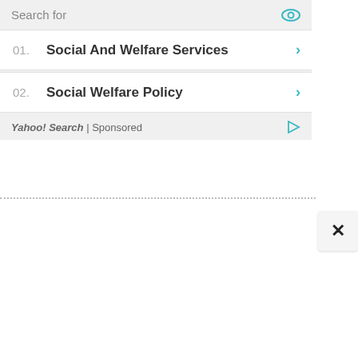Search for
01. Social And Welfare Services
02. Social Welfare Policy
Yahoo! Search | Sponsored
×